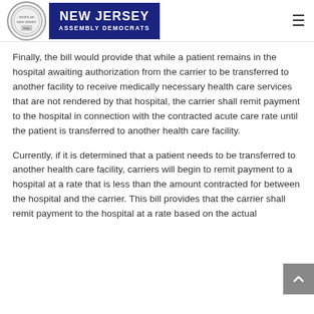New Jersey Assembly Democrats
Finally, the bill would provide that while a patient remains in the hospital awaiting authorization from the carrier to be transferred to another facility to receive medically necessary health care services that are not rendered by that hospital, the carrier shall remit payment to the hospital in connection with the contracted acute care rate until the patient is transferred to another health care facility.
Currently, if it is determined that a patient needs to be transferred to another health care facility, carriers will begin to remit payment to a hospital at a rate that is less than the amount contracted for between the hospital and the carrier. This bill provides that the carrier shall remit payment to the hospital at a rate based on the actual